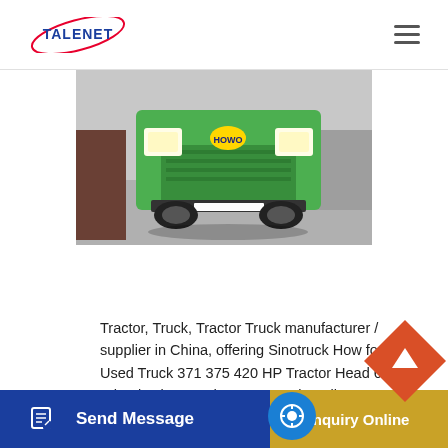TALENET
[Figure (photo): Front view of a green Sinotruck Howo tractor truck parked on pavement, photographed head-on showing the front grille, headlights, and bumper.]
Tractor, Truck, Tractor Truck manufacturer / supplier in China, offering Sinotruck How for Africa Used Truck 371 375 420 HP Tractor Head 6X4 10 Wheel Drive Used Tractor Truck Trailer, 40t 60t 80t 100t heck L Lowboy Low Bed Trailer Truck Semi Trailers